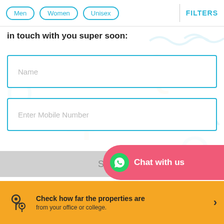Men  Women  Unisex  FILTERS
in touch with you super soon:
Name
Enter Mobile Number
Submit
Chat with us
Check how far the properties are from your office or college.